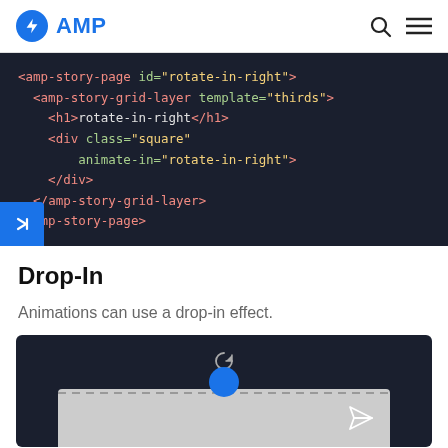AMP
[Figure (screenshot): Code block showing AMP story page HTML with rotate-in-right animation markup on dark background]
Drop-In
Animations can use a drop-in effect.
[Figure (screenshot): Dark preview box showing a drop-in animation demo with a reload icon, blue circle, dashed line, and send icon on a gray card]